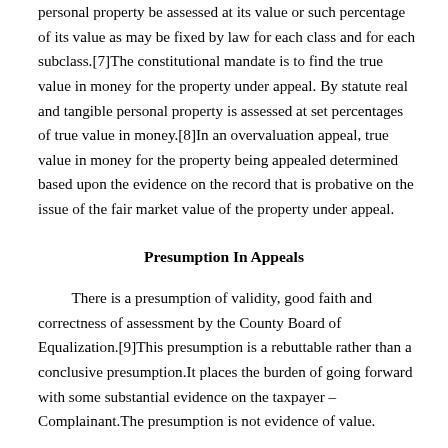personal property be assessed at its value or such percentage of its value as may be fixed by law for each class and for each subclass.[7]The constitutional mandate is to find the true value in money for the property under appeal. By statute real and tangible personal property is assessed at set percentages of true value in money.[8]In an overvaluation appeal, true value in money for the property being appealed determined based upon the evidence on the record that is probative on the issue of the fair market value of the property under appeal.
Presumption In Appeals
There is a presumption of validity, good faith and correctness of assessment by the County Board of Equalization.[9]This presumption is a rebuttable rather than a conclusive presumption.It places the burden of going forward with some substantial evidence on the taxpayer – Complainant.The presumption is not evidence of value.